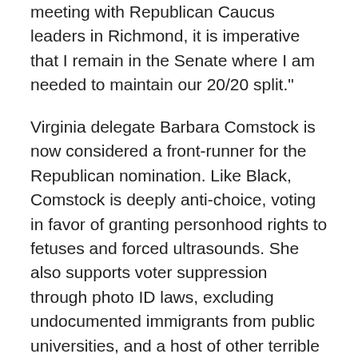meeting with Republican Caucus leaders in Richmond, it is imperative that I remain in the Senate where I am needed to maintain our 20/20 split."
Virginia delegate Barbara Comstock is now considered a front-runner for the Republican nomination. Like Black, Comstock is deeply anti-choice, voting in favor of granting personhood rights to fetuses and forced ultrasounds. She also supports voter suppression through photo ID laws, excluding undocumented immigrants from public universities, and a host of other terrible policies, which you can read more about here.
By KATIE MCDONOUGH